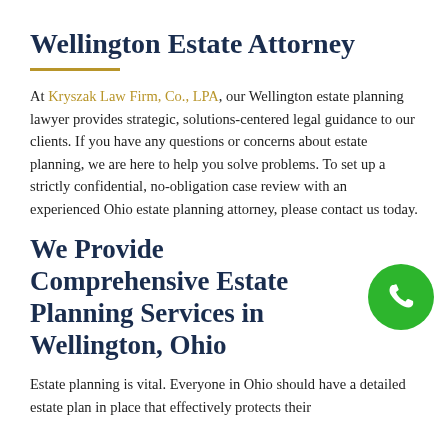Wellington Estate Attorney
At Kryszak Law Firm, Co., LPA, our Wellington estate planning lawyer provides strategic, solutions-centered legal guidance to our clients. If you have any questions or concerns about estate planning, we are here to help you solve problems. To set up a strictly confidential, no-obligation case review with an experienced Ohio estate planning attorney, please contact us today.
We Provide Comprehensive Estate Planning Services in Wellington, Ohio
Estate planning is vital. Everyone in Ohio should have a detailed estate plan in place that effectively protects their